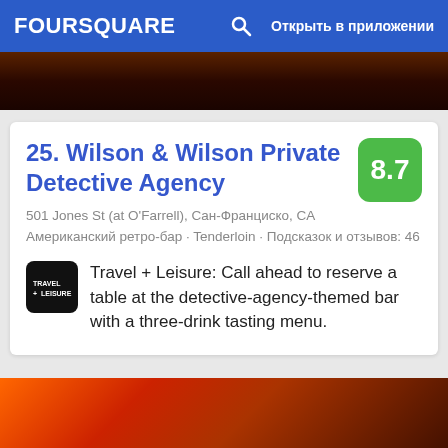FOURSQUARE — Открыть в приложении
[Figure (photo): Dark reddish-brown bar interior photo strip at top]
25. Wilson & Wilson Private Detective Agency
501 Jones St (at O'Farrell), Сан-Франциско, CA
Американский ретро-бар · Tenderloin · Подсказок и отзывов: 46
Travel + Leisure: Call ahead to reserve a table at the detective-agency-themed bar with a three-drink tasting menu.
[Figure (photo): Orange and gold light streaks/sparks photo strip at bottom]